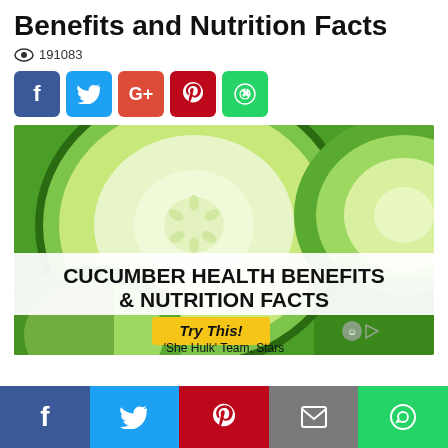Benefits and Nutrition Facts
191083
[Figure (infographic): Social share buttons: Facebook (blue), Twitter (light blue), Google+ (red-orange), Pinterest (dark red), WhatsApp (green)]
[Figure (photo): Close-up photo of sliced cucumbers with text overlay reading 'CUCUMBER HEALTH BENEFITS & NUTRITION FACTS', a yellow 'Try This!' button, ad icons, and a partial text 'She Hulk' Team, Stars]
[Figure (infographic): Bottom social share bar with Facebook, Twitter, Pinterest, Email, and WhatsApp buttons]